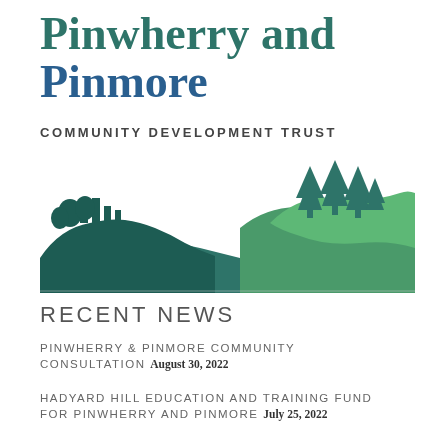Pinwherry and Pinmore
COMMUNITY DEVELOPMENT TRUST
[Figure (illustration): Landscape illustration showing rolling green hills with trees and a building/castle silhouette on the left, pine trees on the right hill, and layered blue-green hills in the background — logo for Pinwherry and Pinmore Community Development Trust]
RECENT NEWS
PINWHERRY & PINMORE COMMUNITY CONSULTATION August 30, 2022
HADYARD HILL EDUCATION AND TRAINING FUND FOR PINWHERRY AND PINMORE July 25, 2022